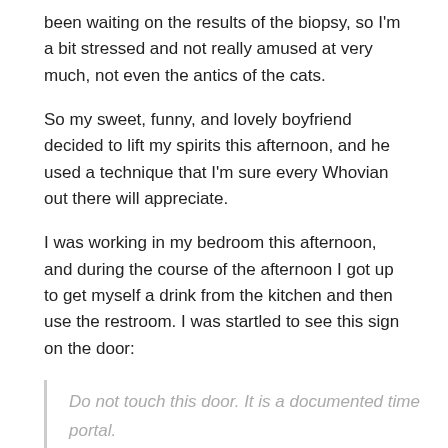been waiting on the results of the biopsy, so I'm a bit stressed and not really amused at very much, not even the antics of the cats.
So my sweet, funny, and lovely boyfriend decided to lift my spirits this afternoon, and he used a technique that I'm sure every Whovian out there will appreciate.
I was working in my bedroom this afternoon, and during the course of the afternoon I got up to get myself a drink from the kitchen and then use the restroom. I was startled to see this sign on the door:
Do not touch this door. It is a documented time portal.

Best wishes,

The Department of Time
So – and I am giggling again now – I went downstairs to use the restroom there. I looked for the prankster on my way downstairs, but he pretended to sit in his chair, just as though he had done nothing.